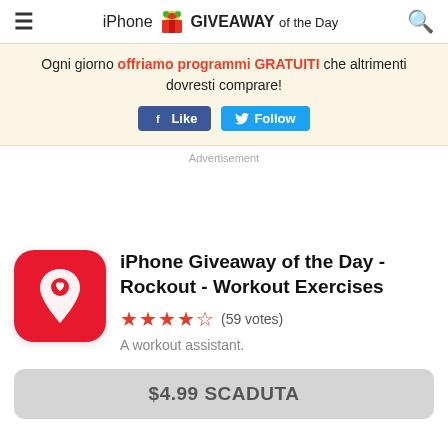iPhone GIVEAWAY of the Day
Ogni giorno offriamo programmi GRATUITI che altrimenti dovresti comprare!
[Figure (screenshot): Facebook Like and Twitter Follow buttons]
Advertisement
[Figure (logo): Rockout app icon: red rounded square with white stylized pin/location marker]
iPhone Giveaway of the Day - Rockout - Workout Exercises
★★★★½ (59 votes)
A workout assistant.
$4.99 SCADUTA